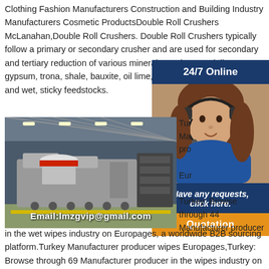Clothing Fashion Manufacturers Construction and Building Industry Manufacturers Cosmetic ProductsDouble Roll Crushers McLanahan,Double Roll Crushers. Double Roll Crushers typically follow a primary or secondary crusher and are used for secondary and tertiary reduction of various minerals, such as coal, limestone, gypsum, trona, shale, bauxite, oil lime, glass, kaolin, brick, shale and wet, sticky feedstocks.
[Figure (photo): Industrial factory floor showing large heavy machinery (crushers/mills) on production line with overhead lighting. Email:lmzgvip@gmail.com watermark overlaid.]
[Figure (infographic): 24/7 Online customer service panel with a woman wearing a headset, navy blue background, 'Have any requests, click here.' text, and orange Quotation button.]
Turkey: Browse through 44 Manufacturer producer in the wet wipes industry on Europages, a worldwide B2B sourcing platform. Turkey: Browse through 44 Manufacturer producer in the wet wipes industry on Europages, a worldwide B2B sourcing platform.Turkey Manufacturer producer wipes Europages,Turkey: Browse through 69 Manufacturer producer in the wipes industry on